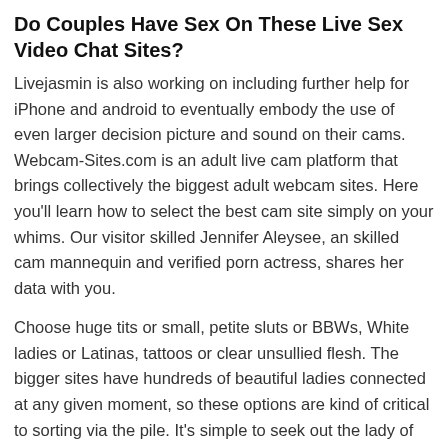Do Couples Have Sex On These Live Sex Video Chat Sites?
Livejasmin is also working on including further help for iPhone and android to eventually embody the use of even larger decision picture and sound on their cams. Webcam-Sites.com is an adult live cam platform that brings collectively the biggest adult webcam sites. Here you'll learn how to select the best cam site simply on your whims. Our visitor skilled Jennifer Aleysee, an skilled cam mannequin and verified porn actress, shares her data with you.
Choose huge tits or small, petite sluts or BBWs, White ladies or Latinas, tattoos or clear unsullied flesh. The bigger sites have hundreds of beautiful ladies connected at any given moment, so these options are kind of critical to sorting via the pile. It's simple to seek out the lady of your goals or dozens of them, and get them to behave out your filthiest fantasies live while you watch and shake your dick at